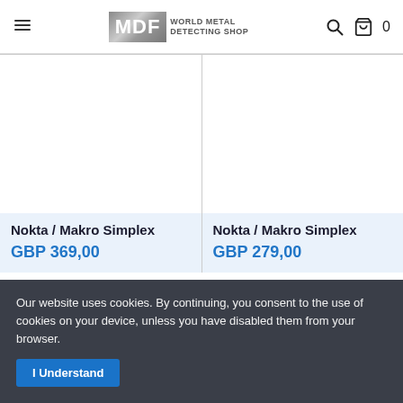MDF WORLD METAL DETECTING SHOP — navigation header with hamburger menu, logo, search icon, cart icon, cart count 0
[Figure (photo): Product image area for Nokta / Makro Simplex — white/blank product image placeholder]
Nokta / Makro Simplex
GBP 369,00
[Figure (photo): Product image area for Nokta / Makro Simplex — white/blank product image placeholder]
Nokta / Makro Simplex
GBP 279,00
Our website uses cookies. By continuing, you consent to the use of cookies on your device, unless you have disabled them from your browser.